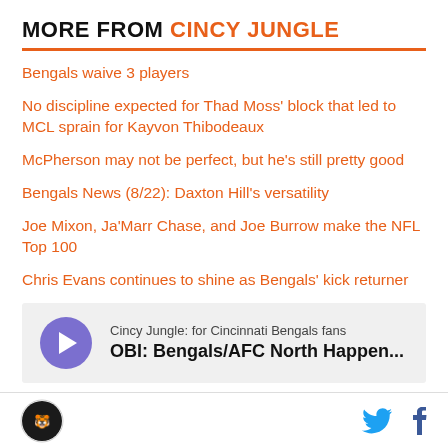MORE FROM CINCY JUNGLE
Bengals waive 3 players
No discipline expected for Thad Moss' block that led to MCL sprain for Kayvon Thibodeaux
McPherson may not be perfect, but he's still pretty good
Bengals News (8/22): Daxton Hill's versatility
Joe Mixon, Ja'Marr Chase, and Joe Burrow make the NFL Top 100
Chris Evans continues to shine as Bengals' kick returner
[Figure (other): Podcast player widget showing Cincy Jungle podcast with play button and title: OBI: Bengals/AFC North Happen...]
Cincy Jungle logo, Twitter icon, Facebook icon